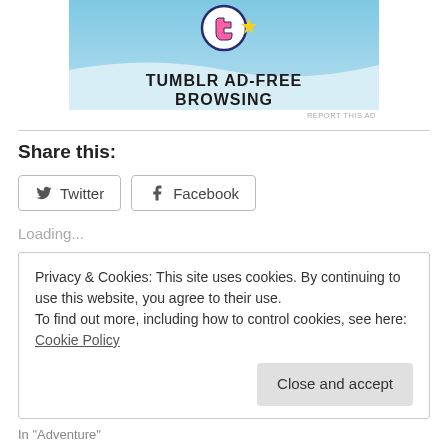[Figure (illustration): Tumblr Ad-Free Browsing advertisement banner with blue sky background and logo]
REPORT THIS AD
Share this:
Twitter  Facebook
Loading...
Privacy & Cookies: This site uses cookies. By continuing to use this website, you agree to their use.
To find out more, including how to control cookies, see here: Cookie Policy
Close and accept
In "Adventure"